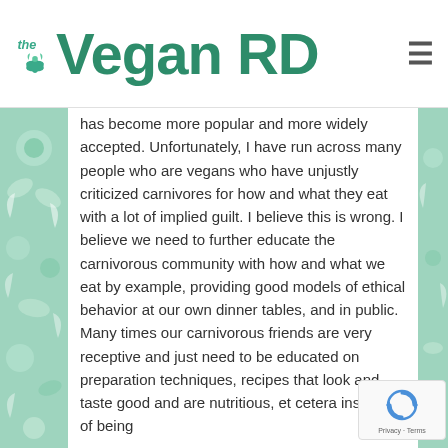the Vegan RD
has become more popular and more widely accepted. Unfortunately, I have run across many people who are vegans who have unjustly criticized carnivores for how and what they eat with a lot of implied guilt. I believe this is wrong. I believe we need to further educate the carnivorous community with how and what we eat by example, providing good models of ethical behavior at our own dinner tables, and in public. Many times our carnivorous friends are very receptive and just need to be educated on preparation techniques, recipes that look and taste good and are nutritious, et cetera instead of being